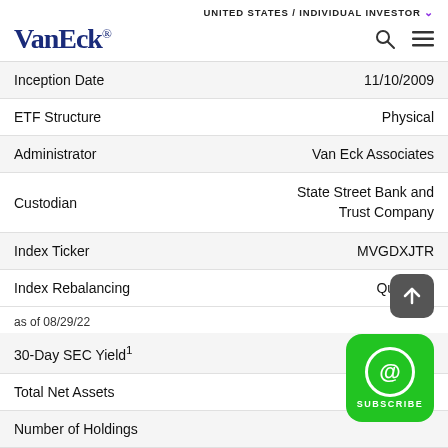UNITED STATES / INDIVIDUAL INVESTOR
[Figure (logo): VanEck logo in dark blue serif font with registered trademark symbol]
| Field | Value |
| --- | --- |
| Inception Date | 11/10/2009 |
| ETF Structure | Physical |
| Administrator | Van Eck Associates |
| Custodian | State Street Bank and Trust Company |
| Index Ticker | MVGDXJTR |
| Index Rebalancing | Quarterly |
as of 08/29/22
| Field | Value |
| --- | --- |
| 30-Day SEC Yield¹ |  |
| Total Net Assets |  |
| Number of Holdings |  |
| Options | Available |